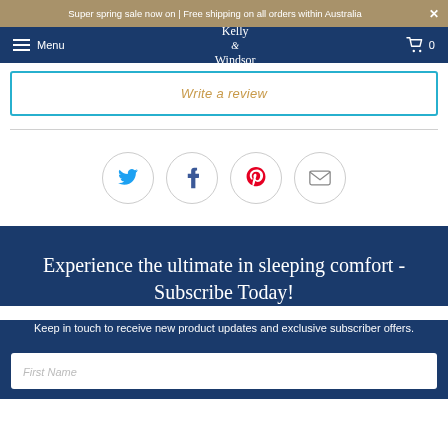Super spring sale now on | Free shipping on all orders within Australia
Menu | Kelly & Windsor | 0
Write a review
[Figure (infographic): Row of four social media sharing icons in circular borders: Twitter (blue bird), Facebook (blue f), Pinterest (red P), Email (grey envelope)]
Experience the ultimate in sleeping comfort - Subscribe Today!
Keep in touch to receive new product updates and exclusive subscriber offers.
First Name